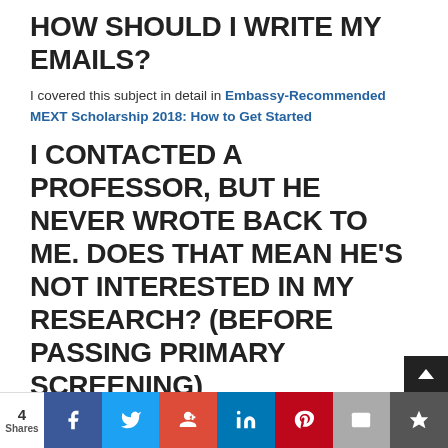HOW SHOULD I WRITE MY EMAILS?
I covered this subject in detail in Embassy-Recommended MEXT Scholarship 2018: How to Get Started
I CONTACTED A PROFESSOR, BUT HE NEVER WROTE BACK TO ME. DOES THAT MEAN HE’S NOT INTERESTED IN MY RESEARCH? (BEFORE PASSING PRIMARY SCREENING)
...
4 Shares | Facebook | Twitter | Google+ | LinkedIn | Pinterest | Email | Save